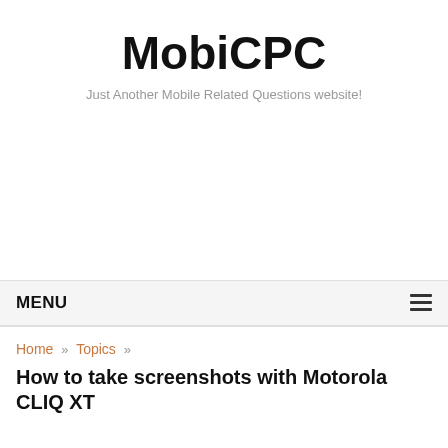MobiCPC
Just Another Mobile Related Questions website!
MENU
Home » Topics »
How to take screenshots with Motorola CLIQ XT